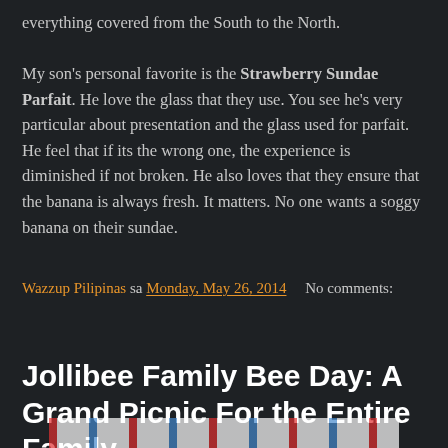everything covered from the South to the North.

My son's personal favorite is the Strawberry Sundae Parfait. He love the glass that they use. You see he's very particular about presentation and the glass used for parfait. He feel that if its the wrong one, the experience is diminished if not broken. He also loves that they ensure that the banana is always fresh. It matters. No one wants a soggy banana on their sundae.
Wazzup Pilipinas sa Monday, May 26, 2014   No comments:
Share
Jollibee Family Bee Day: A Grand Picnic For the Entire Family
[Figure (photo): Partial view of a colorful image at the bottom of the page, appears to show a Jollibee-themed picnic or event banner]